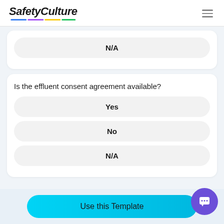SafetyCulture
N/A
Is the effluent consent agreement available?
Yes
No
N/A
Use this Template